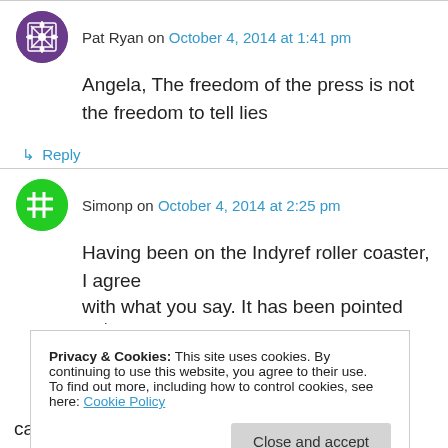Pat Ryan on October 4, 2014 at 1:41 pm
Angela, The freedom of the press is not the freedom to tell lies
↳ Reply
Simonp on October 4, 2014 at 2:25 pm
Having been on the Indyref roller coaster, I agree with what you say. It has been pointed out many...
Privacy & Cookies: This site uses cookies. By continuing to use this website, you agree to their use.
To find out more, including how to control cookies, see here: Cookie Policy
Close and accept
came out for Yes, the Sunday Herald.